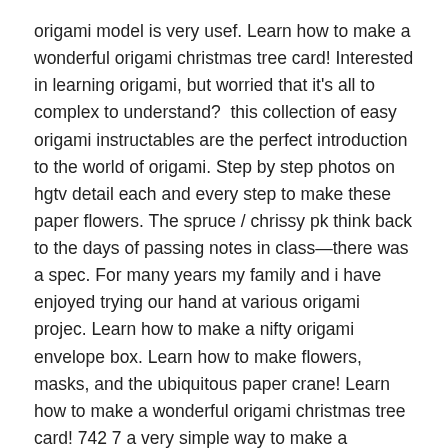origami model is very usef. Learn how to make a wonderful origami christmas tree card! Interested in learning origami, but worried that it's all to complex to understand?  this collection of easy origami instructables are the perfect introduction to the world of origami. Step by step photos on hgtv detail each and every step to make these paper flowers. The spruce / chrissy pk think back to the days of passing notes in class—there was a spec. For many years my family and i have enjoyed trying our hand at various origami projec. Learn how to make a nifty origami envelope box. Learn how to make flowers, masks, and the ubiquitous paper crane! Learn how to make a wonderful origami christmas tree card! 742 7 a very simple way to make a harebell flower! A handmade christmas card is the pe. Not my work, but some things i found that i want to try.
27+ Hard Origami Tutorial Pictures. 494 22 by batgirl87 in paper by krysteanuh in paper by emilyvanleemput in jewelry by rayonlover in holidays by shopdave in paper by